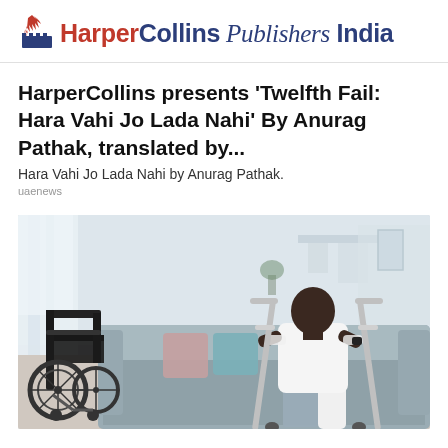HarperCollins Publishers India
HarperCollins presents 'Twelfth Fail: Hara Vahi Jo Lada Nahi' By Anurag Pathak, translated by...
Hara Vahi Jo Lada Nahi by Anurag Pathak.
uaenews
[Figure (photo): A man using crutches standing up from a grey sofa, with a wheelchair visible on the left side of the image. Indoor living room setting with light curtains in the background.]